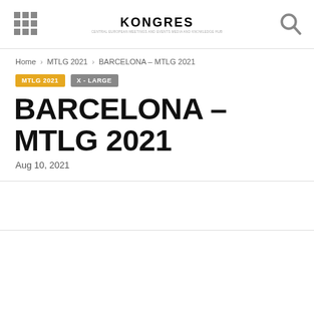KONGRES
Home › MTLG 2021 › BARCELONA – MTLG 2021
MTLG 2021   X - LARGE
BARCELONA – MTLG 2021
Aug 10, 2021